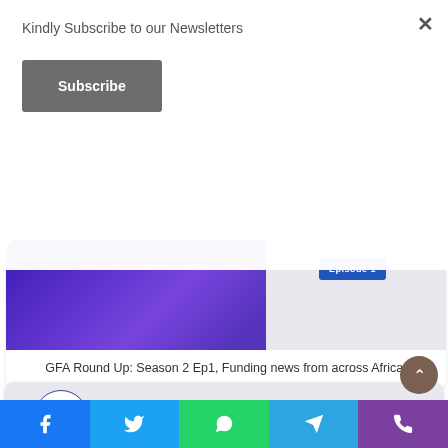Kindly Subscribe to our Newsletters
Subscribe
[Figure (photo): Screenshot of a website showing a newsletter subscribe modal overlay on top of a card with a woman in a blue dress labeled 'Episode 1', and a second card with GetFundedAfrica logo below. Bottom social share bar with Facebook, Twitter, WhatsApp, Telegram, and phone icons.]
GFA Round Up: Season 2 Ep1, Funding news from across Africa.